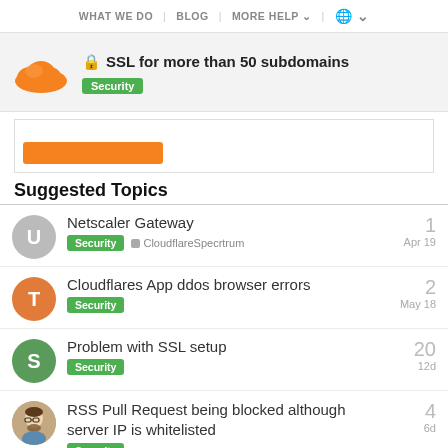WHAT WE DO | BLOG | MORE HELP | (globe)
🔒 SSL for more than 50 subdomains
Security
Suggested Topics
Netscaler Gateway — Security, CloudflareSpecrtrum — Apr 19 — 1 reply
Cloudflares App ddos browser errors — Security — May 18 — 2 replies
Problem with SSL setup — Security — 12d — 20 replies
RSS Pull Request being blocked although server IP is whitelisted — Security — 6d — 4 replies